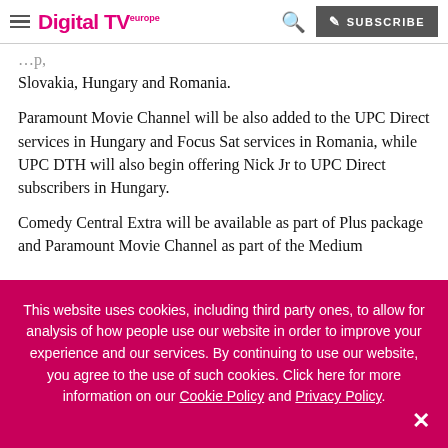Digital TV Europe — SUBSCRIBE
Slovakia, Hungary and Romania.
Paramount Movie Channel will be also added to the UPC Direct services in Hungary and Focus Sat services in Romania, while UPC DTH will also begin offering Nick Jr to UPC Direct subscribers in Hungary.
Comedy Central Extra will be available as part of Plus package and Paramount Movie Channel as part of the Medium
This website uses cookies, including third party ones, to allow for analysis of how people use our website in order to improve your experience and our services. By continuing to use our website, you agree to the use of such cookies. Click here for more information on our Cookie Policy and Privacy Policy.